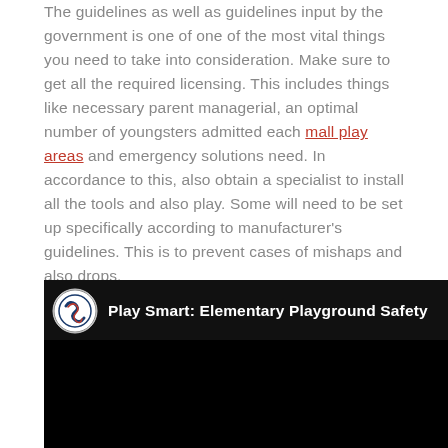The guidelines as well as guidelines input by the government is one of one of the most vital things you need to take into consideration. Make sure to get all the required licensing. This includes things like necessary parent managerial, an optimal number of youngsters admitted each mall play areas and emergency solutions need. In accordance to this, also obtain a specialist to install all the tools and also play. Some will need to be set up specifically according to manufacturer's guidelines. This is to prevent cases of mishaps and also drops.
[Figure (screenshot): YouTube video thumbnail for 'Play Smart: Elementary Playground Safety' with Penn State logo and black background]